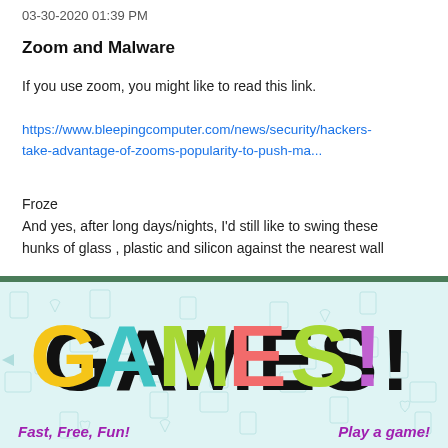03-30-2020 01:39 PM
Zoom and Malware
If you use zoom, you might like to read this link.
https://www.bleepingcomputer.com/news/security/hackers-take-advantage-of-zooms-popularity-to-push-ma...
Froze
And yes, after long days/nights, I'd still like to swing these hunks of glass , plastic and silicon against the nearest wall
[Figure (illustration): GAMES! banner with colorful letters on a light blue tech-icon patterned background, with green horizontal bar at top and 'Fast, Free, Fun!' and 'Play a game!' text at the bottom in purple.]